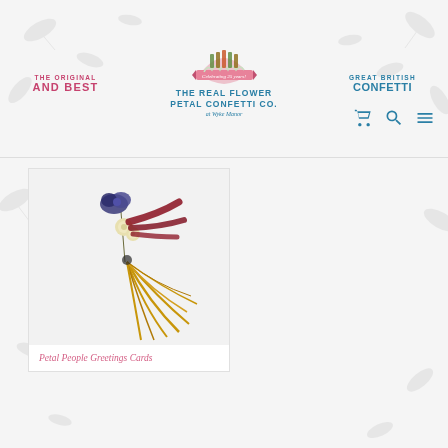[Figure (logo): The Real Flower Petal Confetti Co. logo with celebrating 25 years badge, flanked by 'The Original And Best' on the left and 'Great British Confetti' on the right, with cart, search and menu icons]
[Figure (photo): Dried flower petal art arranged to look like a person or bird figure, with dark blue/purple flowers for head, cream roses, dark red petals, and golden brown dried grass or wheat for the body/tail]
Petal People Greetings Cards